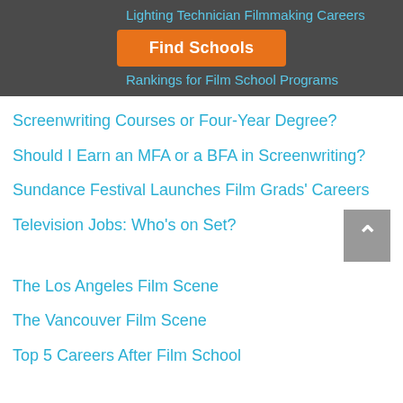Lighting Technician Filmmaking Careers
[Figure (other): Orange 'Find Schools' button]
Rankings for Film School Programs
Screenwriting Courses or Four-Year Degree?
Should I Earn an MFA or a BFA in Screenwriting?
Sundance Festival Launches Film Grads' Careers
Television Jobs: Who's on Set?
The Los Angeles Film Scene
The Vancouver Film Scene
Top 5 Careers After Film School